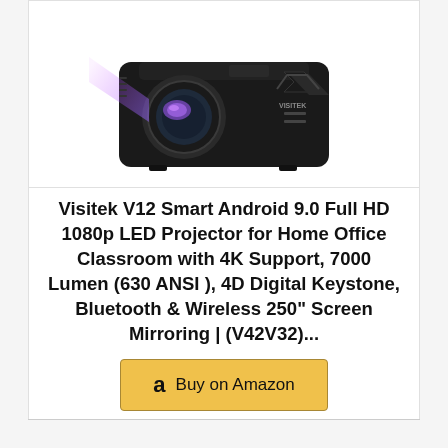[Figure (photo): Black LED projector (Visitek brand) shown in three-quarter view with purple/blue light beam emanating from lens, on white background]
Visitek V12 Smart Android 9.0 Full HD 1080p LED Projector for Home Office Classroom with 4K Support, 7000 Lumen (630 ANSI ), 4D Digital Keystone, Bluetooth & Wireless 250" Screen Mirroring | (V42V32)...
[Figure (other): Buy on Amazon button with Amazon logo 'a' icon on golden/yellow background]